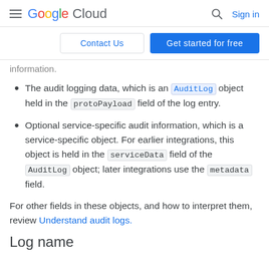Google Cloud | Contact Us | Get started for free | Sign in
information.
The audit logging data, which is an AuditLog object held in the protoPayload field of the log entry.
Optional service-specific audit information, which is a service-specific object. For earlier integrations, this object is held in the serviceData field of the AuditLog object; later integrations use the metadata field.
For other fields in these objects, and how to interpret them, review Understand audit logs.
Log name